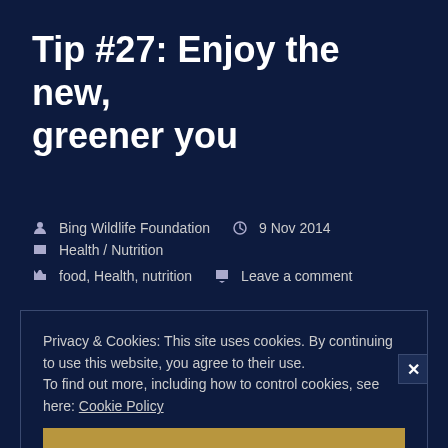Tip #27: Enjoy the new, greener you
Bing Wildlife Foundation  9 Nov 2014  Health / Nutrition  food, Health, nutrition  Leave a comment
Privacy & Cookies: This site uses cookies. By continuing to use this website, you agree to their use.
To find out more, including how to control cookies, see here: Cookie Policy
Close and accept